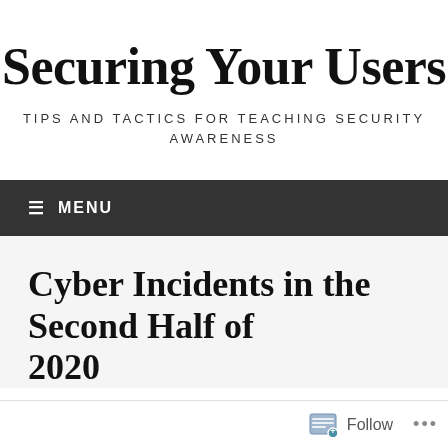Securing Your Users
TIPS AND TACTICS FOR TEACHING SECURITY AWARENESS
≡ MENU
Cyber Incidents in the Second Half of 2020